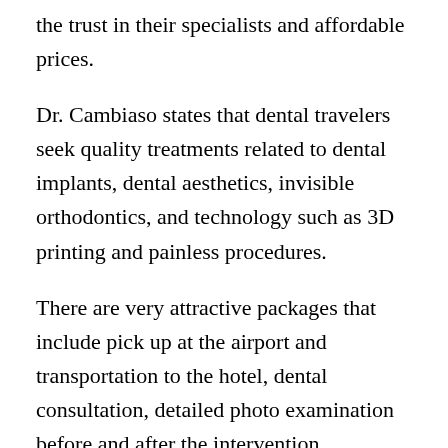the trust in their specialists and affordable prices.
Dr. Cambiaso states that dental travelers seek quality treatments related to dental implants, dental aesthetics, invisible orthodontics, and technology such as 3D printing and painless procedures.
There are very attractive packages that include pick up at the airport and transportation to the hotel, dental consultation, detailed photo examination before and after the intervention, radiological examination, CT scan, and adding postoperative controls to ensure continuity of care.
What will differentiate dental travel in the Dominican